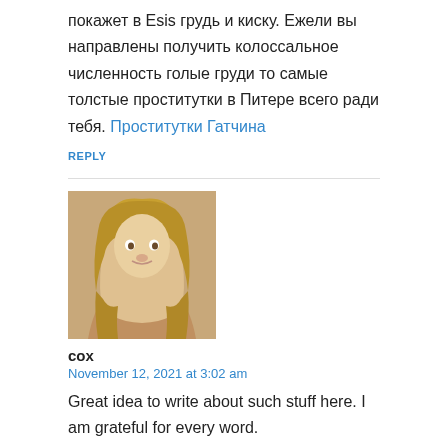покажет в Esis грудь и киску. Ежели вы направлены получить колоссальное численность голые груди то самые толстые проститутки в Питере всего ради тебя. Проститутки Гатчина
REPLY
[Figure (photo): Avatar photo of a blonde woman]
cox
November 12, 2021 at 3:02 am
Great idea to write about such stuff here. I am grateful for every word.
דרושות נערות ליווי
REPLY
[Figure (photo): Partial avatar image at bottom of page]